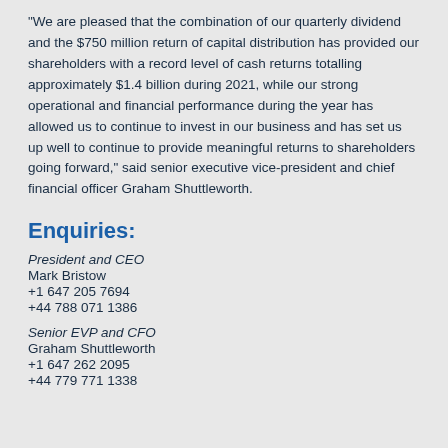“We are pleased that the combination of our quarterly dividend and the $750 million return of capital distribution has provided our shareholders with a record level of cash returns totalling approximately $1.4 billion during 2021, while our strong operational and financial performance during the year has allowed us to continue to invest in our business and has set us up well to continue to provide meaningful returns to shareholders going forward,” said senior executive vice-president and chief financial officer Graham Shuttleworth.
Enquiries:
President and CEO
Mark Bristow
+1 647 205 7694
+44 788 071 1386
Senior EVP and CFO
Graham Shuttleworth
+1 647 262 2095
+44 779 771 1338